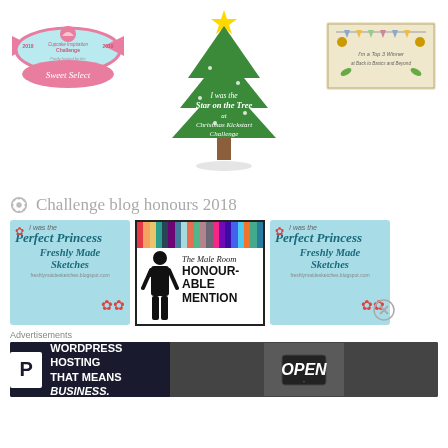[Figure (logo): Sweet Select Cupcake Inspiration Challenge 2019 badge - pink and mint oval shape]
[Figure (illustration): Christmas tree illustration with text 'I was the Star on the Tree at Christmas Kickstart Challenge']
[Figure (logo): I'm a Top 3 Winner at Back to Basics and Beyond badge - vintage photo style]
Challenge blog honours 2018
[Figure (logo): I was the Perfect Princess - Freshly Made Sketches badge - blue background]
[Figure (logo): The Male Room Honourable Mention badge - rainbow stripes with man silhouette]
[Figure (logo): I was the Perfect Princess - Freshly Made Sketches badge - blue background (second instance)]
Advertisements
[Figure (other): WordPress Hosting That Means Business advertisement banner with OPEN sign photo]